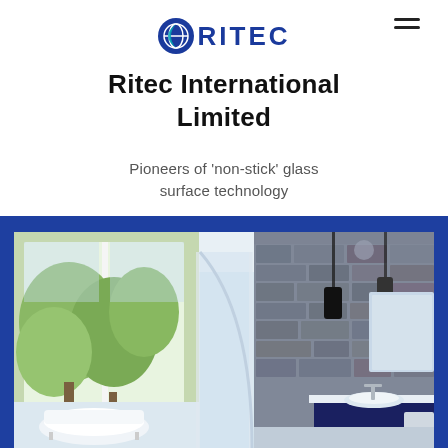[Figure (logo): Ritec logo with circular blue/teal icon and bold RITEC text in dark navy]
Ritec International Limited
Pioneers of 'non-stick' glass surface technology
[Figure (photo): Modern luxury bathroom with glass shower enclosure, freestanding bathtub, large windows overlooking trees, and stone-effect tiled wall with dark blue cabinetry, set within a blue-bordered frame]